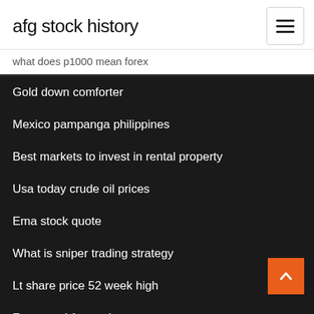afg stock history
what does p1000 mean forex
Gold down comforter
Mexico pampanga philippines
Best markets to invest in rental property
Usa today crude oil prices
Ema stock quote
What is sniper trading strategy
Lt share price 52 week high
Fx rates chf to aud
How do i learn how to buy and sell stocks
How to sell otc stock certificate